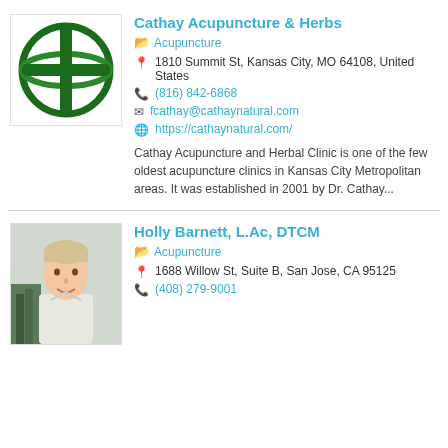[Figure (logo): Cathay Acupuncture & Herbs circular logo with a stylized dark green symbol inside a ring]
Cathay Acupuncture & Herbs
Acupuncture
1810 Summit St, Kansas City, MO 64108, United States
(816) 842-6868
fcathay@cathaynatural.com
https://cathaynatural.com/
Cathay Acupuncture and Herbal Clinic is one of the few oldest acupuncture clinics in Kansas City Metropolitan areas. It was established in 2001 by Dr. Cathay...
[Figure (photo): Photo of Holly Barnett, a young woman with short light hair, wearing a light-colored top, standing in front of greenery]
Holly Barnett, L.Ac, DTCM
Acupuncture
1688 Willow St, Suite B, San Jose, CA 95125
(408) 279-9001